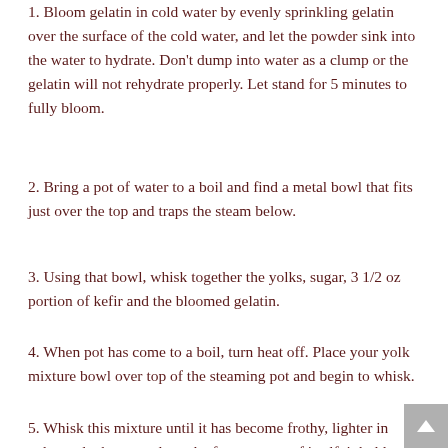1. Bloom gelatin in cold water by evenly sprinkling gelatin over the surface of the cold water, and let the powder sink into the water to hydrate. Don't dump into water as a clump or the gelatin will not rehydrate properly. Let stand for 5 minutes to fully bloom.
2. Bring a pot of water to a boil and find a metal bowl that fits just over the top and traps the steam below.
3. Using that bowl, whisk together the yolks, sugar, 3 1/2 oz portion of kefir and the bloomed gelatin.
4. When pot has come to a boil, turn heat off. Place your yolk mixture bowl over top of the steaming pot and begin to whisk.
5. Whisk this mixture until it has become frothy, lighter in color and when you draw the foam on top of itself, it holds on the surface for 3 seconds.